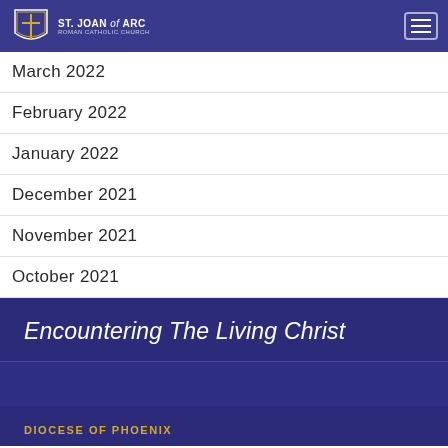St. Joan of Arc Roman Catholic Church
March 2022
February 2022
January 2022
December 2021
November 2021
October 2021
Encountering The Living Christ
DIOCESE OF PHOENIX